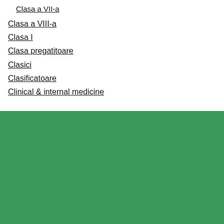Clasa a VII-a
Clasa a VIII-a
Clasa I
Clasa pregatitoare
Clasici
Clasificatoare
Clinical & internal medicine
Politica de utilizare Cookie-uri
Site-ul nostru utilizează module cookie și alte tehnologii similare pentru a optimiza funcționalitatea si a îmbunătăți experiența de navigare.
Află mai multe »
Acceptă